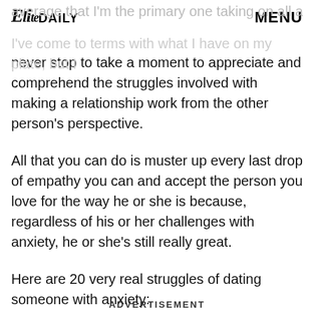Elite Daily   MENU
I've come to terms with what I have on my plate, but I never stop to take a moment to appreciate and comprehend the struggles involved with making a relationship work from the other person's perspective.
All that you can do is muster up every last drop of empathy you can and accept the person you love for the way he or she is because, regardless of his or her challenges with anxiety, he or she's still really great.
Here are 20 very real struggles of dating someone with anxiety:
ADVERTISEMENT